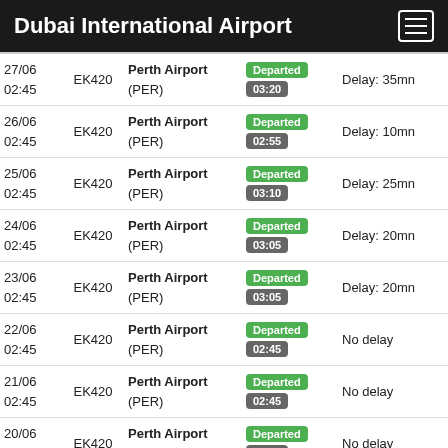Dubai International Airport
| Date/Time | Flight | Destination | Status/Actual | Delay |
| --- | --- | --- | --- | --- |
| 27/06 02:45 | EK420 | Perth Airport (PER) | Departed 03:20 | Delay: 35mn |
| 26/06 02:45 | EK420 | Perth Airport (PER) | Departed 02:55 | Delay: 10mn |
| 25/06 02:45 | EK420 | Perth Airport (PER) | Departed 03:10 | Delay: 25mn |
| 24/06 02:45 | EK420 | Perth Airport (PER) | Departed 03:05 | Delay: 20mn |
| 23/06 02:45 | EK420 | Perth Airport (PER) | Departed 03:05 | Delay: 20mn |
| 22/06 02:45 | EK420 | Perth Airport (PER) | Departed 02:45 | No delay |
| 21/06 02:45 | EK420 | Perth Airport (PER) | Departed 02:45 | No delay |
| 20/06 02:45 | EK420 | Perth Airport (PER) | Departed 02:45 | No delay |